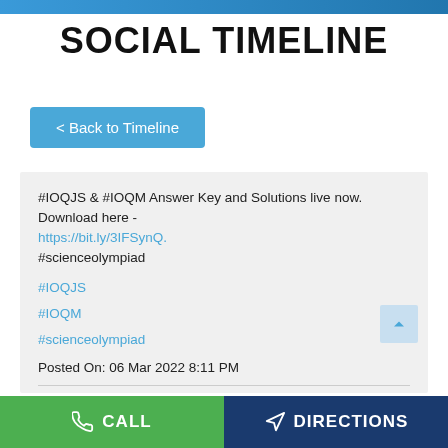SOCIAL TIMELINE
< Back to Timeline
#IOQJS & #IOQM Answer Key and Solutions live now. Download here - https://bit.ly/3IFSynQ. #scienceolympiad
#IOQJS
#IOQM
#scienceolympiad
Posted On: 06 Mar 2022 8:11 PM
CALL | DIRECTIONS